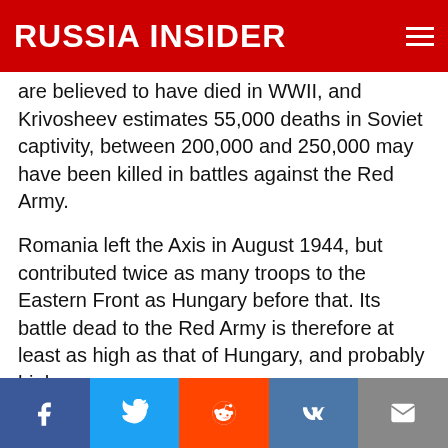RUSSIA INSIDER
are believed to have died in WWII, and Krivosheev estimates 55,000 deaths in Soviet captivity, between 200,000 and 250,000 may have been killed in battles against the Red Army.
Romania left the Axis in August 1944, but contributed twice as many troops to the Eastern Front as Hungary before that. Its battle dead to the Red Army is therefore at least as high as that of Hungary, and probably higher.
Roughly speaking, against the Soviets, Axis forces suffered the loss of some 4.3 military men including 3.55 million Germans, 0.3 million Soviet
Facebook | Twitter | Reddit | VK | Email